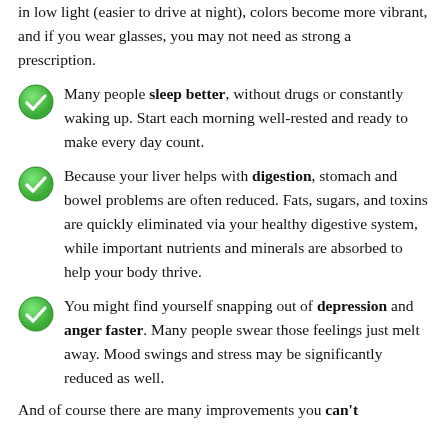in low light (easier to drive at night), colors become more vibrant, and if you wear glasses, you may not need as strong a prescription.
Many people sleep better, without drugs or constantly waking up. Start each morning well-rested and ready to make every day count.
Because your liver helps with digestion, stomach and bowel problems are often reduced. Fats, sugars, and toxins are quickly eliminated via your healthy digestive system, while important nutrients and minerals are absorbed to help your body thrive.
You might find yourself snapping out of depression and anger faster. Many people swear those feelings just melt away. Mood swings and stress may be significantly reduced as well.
And of course there are many improvements you can't